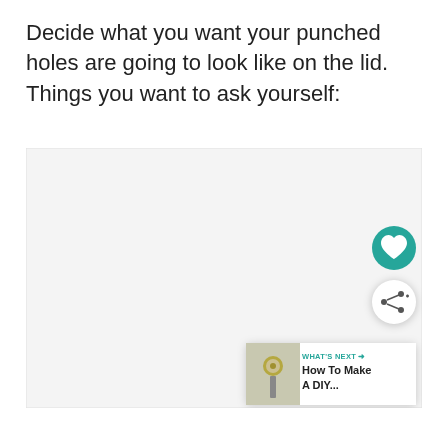Decide what you want your punched holes are going to look like on the lid.  Things you want to ask yourself:
[Figure (photo): Light gray rectangular image placeholder area occupying the lower portion of the page, with a teal heart icon button, a white share icon button, and a 'What's Next' card showing a thumbnail of a metal lid/button and text 'How To Make A DIY...']